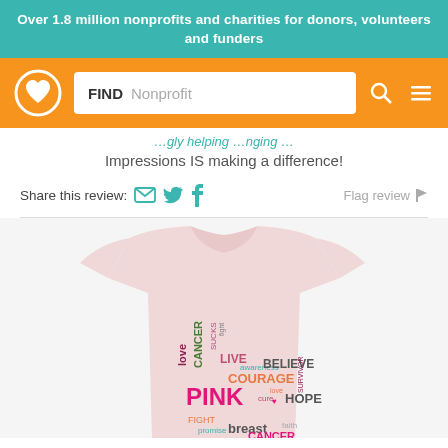Over 1.8 million nonprofits and charities for donors, volunteers and funders
[Figure (screenshot): Website navigation bar with orange background, circular logo with heart icon, search box labeled FIND with placeholder text Nonprofit, search icon, and hamburger menu icon]
Impressions IS making a difference!
Share this review:  Flag review
[Figure (photo): A light pink t-shirt with a word cloud design featuring breast cancer awareness words: love, CANCER, SUCKS, fight, LIVE, awareness, BELIEVE, COURAGE, PINK, cure, hope, love, survivor, FIGHT, promise, breast, faith, CANCER]